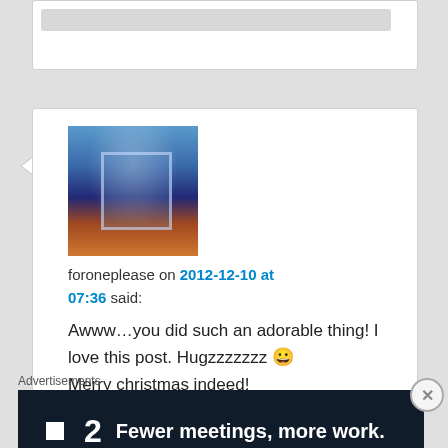[Figure (screenshot): Top portion of a previous comment card, partially visible, showing a grey placeholder bar]
[Figure (photo): Avatar/profile image showing a decorative glass or display item with blue and warm tones]
foroneplease on 2012-12-10 at 07:36 said:
Awww…you did such an adorable thing! I love this post. Hugzzzzzzz 😀 Merry christmas indeed!
★ Like
Reply ↓
Advertisements
[Figure (screenshot): Advertisement banner with dark background showing logo '■2' and text 'Fewer meetings, more work.']